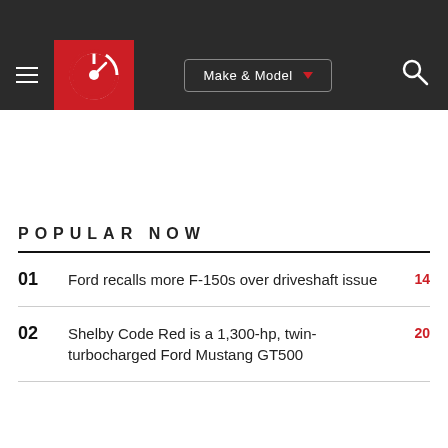Car and Driver navigation bar with Make & Model selector and search
POPULAR NOW
01  Ford recalls more F-150s over driveshaft issue  14
02  Shelby Code Red is a 1,300-hp, twin-turbocharged Ford Mustang GT500  20